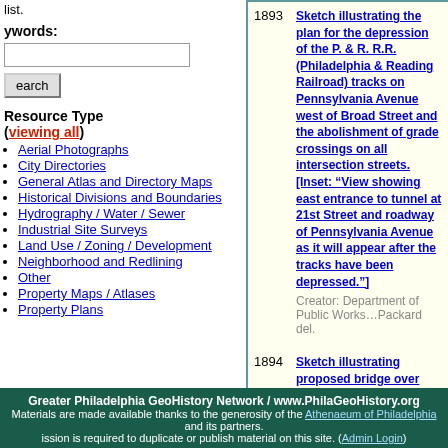list.
ywords:
earch
Resource Type (viewing all)
Aerial Photographs
City Directories
General Atlas and Directory Maps
Historical Divisions and Boundaries
Hydrography / Water / Sewer
Industrial Site Surveys
Land Use / Zoning / Development
Neighborhood and Redlining
Other
Property Maps / Atlases
Property Plans
1893 — Sketch illustrating the plan for the depression of the P. & R. R.R. (Philadelphia & Reading Railroad) tracks on Pennsylvania Avenue west of Broad Street and the abolishment of grade crossings on all intersection streets. [Inset: "View showing east entrance to tunnel at 21st Street and roadway of Pennsylvania Avenue as it will appear after the tracks have been depressed."] Creator: Department of Public Works…Packard del.
1894 — Sketch illustrating proposed bridge over Schuylkill River at Gray's Ferry Philadelphia. Creator: Department of Public Works. Bureau of Surveys.
Greater Philadelphia GeoHistory Network / www.PhilaGeoHistory.org Materials are made available thanks to the generosity of the Athenaeum of Philadelphia and its partners. Permission is required to duplicate or publish material on this site. (Admin Login)